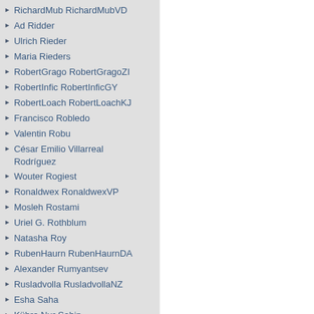RichardMub RichardMubVD
Ad Ridder
Ulrich Rieder
Maria Rieders
RobertGrago RobertGragoZI
RobertInfic RobertInficGY
RobertLoach RobertLoachKJ
Francisco Robledo
Valentin Robu
César Emilio Villarreal Rodríguez
Wouter Rogiest
Ronaldwex RonaldwexVP
Mosleh Rostami
Uriel G. Rothblum
Natasha Roy
RubenHaurn RubenHaurnDA
Alexander Rumyantsev
Rusladvolla RusladvollaNZ
Esha Saha
Kübra Nur Şahin
Kübra Nur Şahin
Leonidas Sakalauskas
Khodakaram Salimifard
Gulay Samatli-Pac
Samueldes SamueldesUO
Kamran Sarmadi